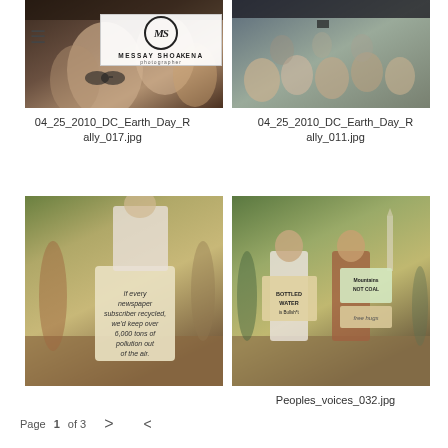[Figure (photo): Crowd of people at DC Earth Day Rally 2010, close-up faces]
[Figure (photo): Large crowd at DC Earth Day Rally 2010 with stage equipment visible]
04_25_2010_DC_Earth_Day_Rally_017.jpg
04_25_2010_DC_Earth_Day_Rally_011.jpg
[Figure (photo): Person holding tote bag with environmental message at Earth Day rally]
[Figure (photo): Two people holding protest signs including 'Bottled Water is Bullsh*t', 'Mountains Not Coal', 'free hugs' at rally near Washington Monument]
Peoples_voices_032.jpg
Page 1 of 3